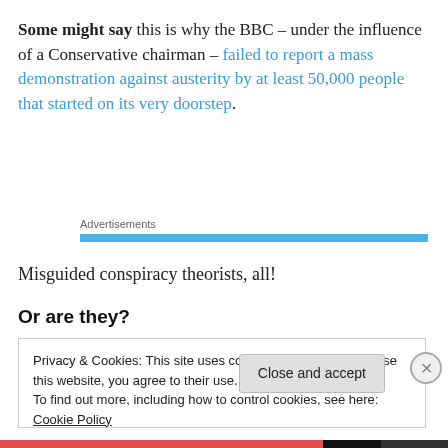Some might say this is why the BBC – under the influence of a Conservative chairman – failed to report a mass demonstration against austerity by at least 50,000 people that started on its very doorstep.
Advertisements
Misguided conspiracy theorists, all!
Or are they?
Privacy & Cookies: This site uses cookies. By continuing to use this website, you agree to their use. To find out more, including how to control cookies, see here: Cookie Policy
Close and accept